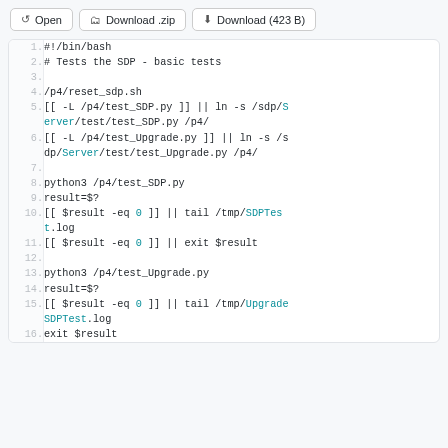[Figure (screenshot): Toolbar with Open, Download .zip, and Download (423 B) buttons]
#!/bin/bash
# Tests the SDP - basic tests

/p4/reset_sdp.sh
[[ -L /p4/test_SDP.py ]] || ln -s /sdp/Server/test/test_SDP.py /p4/
[[ -L /p4/test_Upgrade.py ]] || ln -s /sdp/Server/test/test_Upgrade.py /p4/

python3 /p4/test_SDP.py
result=$?
[[ $result -eq 0 ]] || tail /tmp/SDPTest.log
[[ $result -eq 0 ]] || exit $result

python3 /p4/test_Upgrade.py
result=$?
[[ $result -eq 0 ]] || tail /tmp/UpgradeSDPTest.log
exit $result